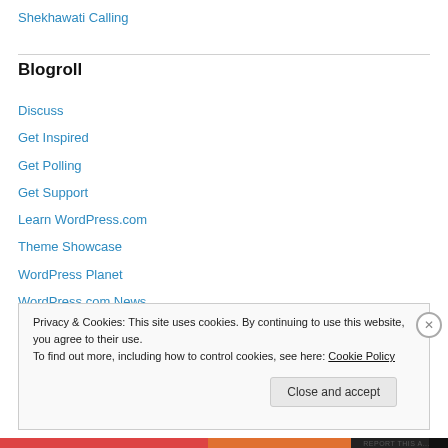Shekhawati Calling
Blogroll
Discuss
Get Inspired
Get Polling
Get Support
Learn WordPress.com
Theme Showcase
WordPress Planet
WordPress.com News
Privacy & Cookies: This site uses cookies. By continuing to use this website, you agree to their use. To find out more, including how to control cookies, see here: Cookie Policy
Close and accept